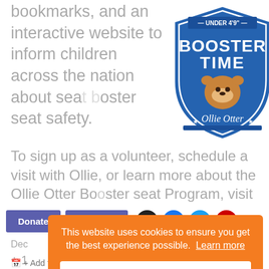bookmarks, and an interactive website to inform children across the nation about seat booster seat safety.
[Figure (logo): Ollie Otter Booster Time shield logo with text UNDER 4'9" BOOSTER TIME and Ollie Otter signature]
To sign up as a volunteer, schedule a visit with Ollie, or learn more about the Ollie Otter Booster seat Program, visit
[Figure (screenshot): Navigation bar with Donate and Calendar buttons in purple, and social media icons (Instagram, Facebook, Twitter, YouTube)]
Dec
+ 1
+ 6
[Figure (infographic): Orange cookie consent banner with text: This website uses cookies to ensure you get the best experience possible. Learn more. Got it button.]
+ Add to Google Calendar     + Add to iCalendar